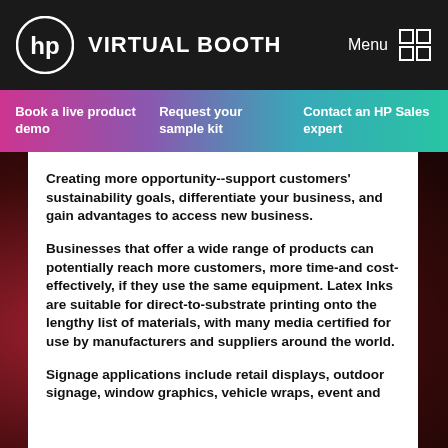VIRTUAL BOOTH  Menu
Book a live product demo
Request your sample kit
Contact an HP Sales expert
Creating more opportunity--support customers' sustainability goals, differentiate your business, and gain advantages to access new business.
Businesses that offer a wide range of products can potentially reach more customers, more time-and cost-effectively, if they use the same equipment. Latex Inks are suitable for direct-to-substrate printing onto the lengthy list of materials, with many media certified for use by manufacturers and suppliers around the world.
Signage applications include retail displays, outdoor signage, window graphics, vehicle wraps, event and